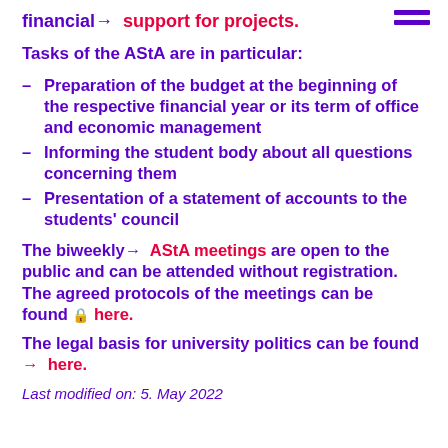financial→  support for projects.
Tasks of the AStA are in particular:
Preparation of the budget at the beginning of the respective financial year or its term of office and economic management
Informing the student body about all questions concerning them
Presentation of a statement of accounts to the students' council
The biweekly→  AStA meetings are open to the public and can be attended without registration. The agreed protocols of the meetings can be found 🔒 here.
The legal basis for university politics can be found → here.
Last modified on: 5. May 2022